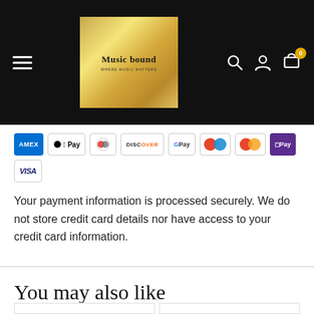[Figure (screenshot): Music Bound website header/navigation bar with hamburger menu, gold gradient logo reading 'Music bound', search icon, user icon, and shopping cart with badge showing 0]
[Figure (infographic): Row of accepted payment method icons: American Express, Apple Pay, Diners Club, Discover, Google Pay, Shopify Pay (circles), Mastercard, OPay, Visa]
Your payment information is processed securely. We do not store credit card details nor have access to your credit card information.
You may also like